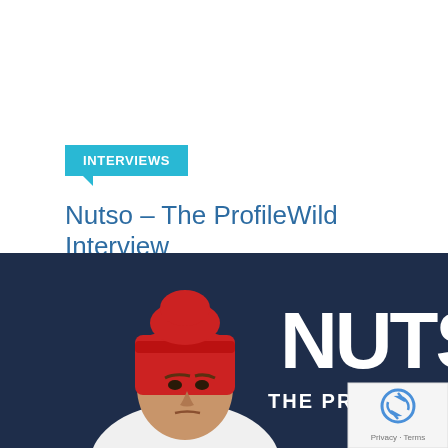INTERVIEWS
Nutso – The ProfileWild Interview
posted February 25, 2015 / 0 Comments
[Figure (photo): Photo of Nutso wearing a red beanie hat and white top against a dark background, with large white text reading 'NUTS' and 'THE PROFI' visible to the right. A reCAPTCHA badge appears in the bottom-right corner.]